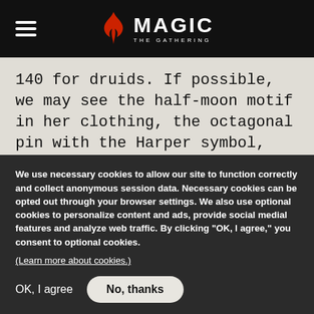Magic: The Gathering navigation bar with logo
140 for druids. If possible, we may see the half-moon motif in her clothing, the octagonal pin with the Harper symbol, and the unique detailing on the Harper cape, but combine the Harper look and colors with that of the druid reference and some unique styling and
We use necessary cookies to allow our site to function correctly and collect anonymous session data. Necessary cookies can be opted out through your browser settings. We also use optional cookies to personalize content and ads, provide social medial features and analyze web traffic. By clicking “OK, I agree,” you consent to optional cookies.
(Learn more about cookies.)
OK, I agree    No, thanks